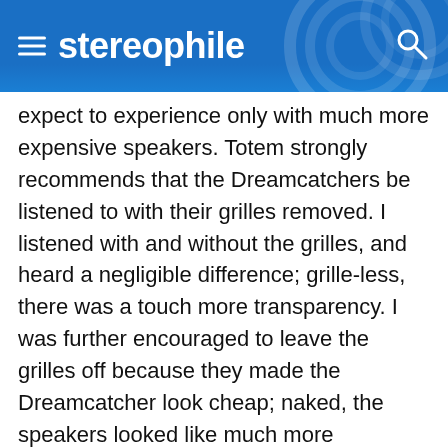stereophile
expect to experience only with much more expensive speakers. Totem strongly recommends that the Dreamcatchers be listened to with their grilles removed. I listened with and without the grilles, and heard a negligible difference; grille-less, there was a touch more transparency. I was further encouraged to leave the grilles off because they made the Dreamcatcher look cheap; naked, the speakers looked like much more expensive speakers. Totem also recommends that the Dreamcatcher be given 40–50 hours of break-in before any serious listening is begun. (My review samples had already had over 100 hours of break-in when I received them.) As usual with bookshelf